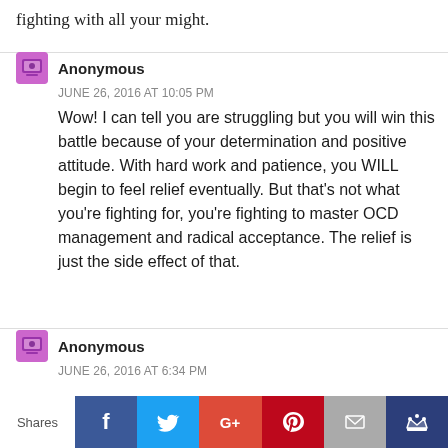fighting with all your might.
Anonymous
JUNE 26, 2016 AT 10:05 PM
Wow! I can tell you are struggling but you will win this battle because of your determination and positive attitude. With hard work and patience, you WILL begin to feel relief eventually. But that's not what you're fighting for, you're fighting to master OCD management and radical acceptance. The relief is just the side effect of that.
Anonymous
JUNE 26, 2016 AT 6:34 PM
For the Warrior in ...